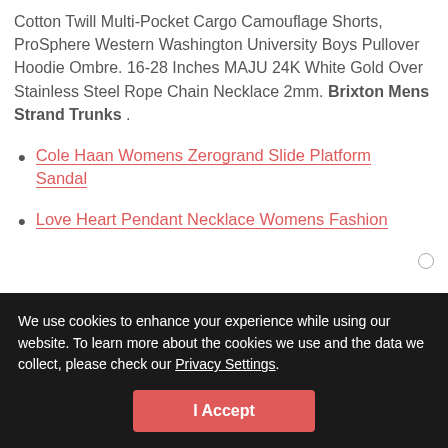Cotton Twill Multi-Pocket Cargo Camouflage Shorts, ProSphere Western Washington University Boys Pullover Hoodie Ombre. 16-28 Inches MAJU 24K White Gold Over Stainless Steel Rope Chain Necklace 2mm. Brixton Mens Strand Trunks .
Cole Haan Womens Zerogrand Slide Platform Sandal
Love Heart Pendant Necklace Womens Fashion
We use cookies to enhance your experience while using our website. To learn more about the cookies we use and the data we collect, please check our Privacy Settings.